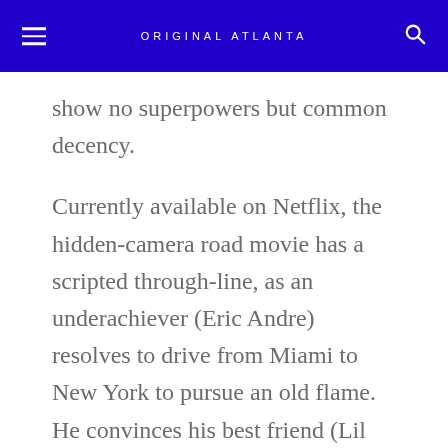ORIGINAL ATLANTA
show no superpowers but common decency.
Currently available on Netflix, the hidden-camera road movie has a scripted through-line, as an underachiever (Eric Andre) resolves to drive from Miami to New York to pursue an old flame. He convinces his best friend (Lil Rey Howery) to “borrow” a car belonging to